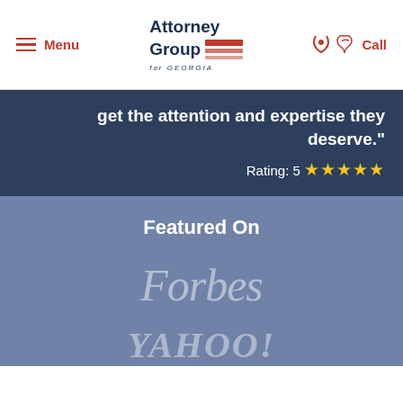Menu | Attorney Group for Georgia | Call
get the attention and expertise they deserve." Rating: 5 ★★★★★
Featured On
[Figure (logo): Forbes logo in muted white/grey on blue background]
[Figure (logo): YAHOO! logo in muted white/grey on blue background]